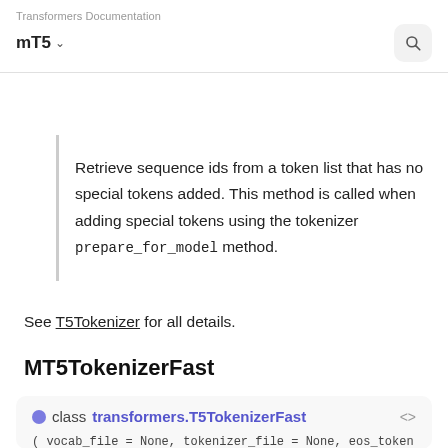Transformers Documentation
mT5 ▾
Retrieve sequence ids from a token list that has no special tokens added. This method is called when adding special tokens using the tokenizer prepare_for_model method.
See T5Tokenizer for all details.
MT5TokenizerFast
class transformers.T5TokenizerFast
( vocab_file = None, tokenizer_file = None, eos_token